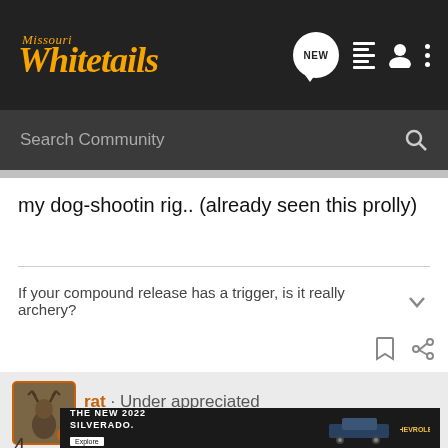Missouri Whitetails
Search Community
my dog-shootin rig.. (already seen this prolly)
If your compound release has a trigger, is it really archery?
rat · Under appreciated
Joined Dec 13, 2005 · 92,300 Posts
Discussion Starter · #18 · May 12, 2006
[Figure (screenshot): Chevrolet Silverado 2022 advertisement banner: 'THE NEW 2022 SILVERADO.' with Explore button and Chevrolet logo]
4